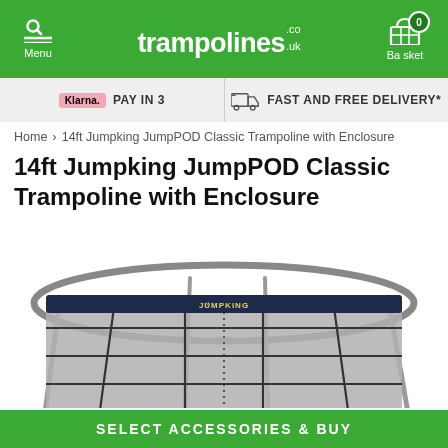Menu | trampolines.co.uk | Basket 0
Klarna. PAY IN 3 | FAST AND FREE DELIVERY*
Home > 14ft Jumpking JumpPOD Classic Trampoline with Enclosure
14ft Jumpking JumpPOD Classic Trampoline with Enclosure
[Figure (photo): Photo of a 14ft Jumpking JumpPOD Classic Trampoline with black safety enclosure netting and Jumpking branded pad, viewed from close up showing the net mesh and frame poles against a white background.]
SELECT ACCESSORIES & BUY